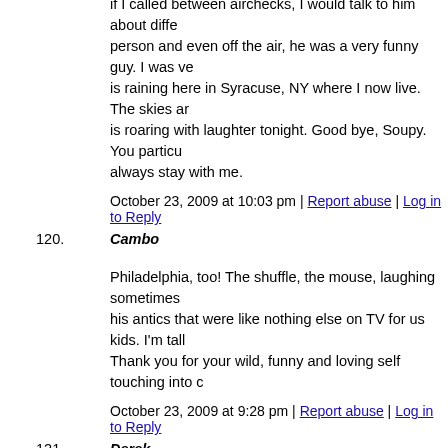if I called between airchecks, I would talk to him about different things in person and even off the air, he was a very funny guy. I was very sad. It is raining here in Syracuse, NY where I now live. The skies are crying and heaven is roaring with laughter tonight. Good bye, Soupy. You particular talent will always stay with me.
October 23, 2009 at 10:03 pm | Report abuse | Log in to Reply
120. Cambo
Philadelphia, too! The shuffle, the mouse, laughing sometimes until crying at his antics that were like nothing else on TV for us kids. I'm talking about Thank you for your wild, funny and loving self touching into our lives
October 23, 2009 at 9:28 pm | Report abuse | Log in to Reply
121. Derek
My brother called me in Calif. from New York to tell me of Soupy's passing. He is still such a part of our personalities. Whenever I encounter someone who drives me crazy , I tap my finger tips together and in a high pitched voice yell " Kill..Kill" ( like Philo Kvetch ). Just the sound of White Fang's voice (done by one of the greatest sidekicks ever..Frank Nastasi) can still reduce me to tears of laughter .
October 23, 2009 at 9:24 pm | Report abuse | Log in to Reply
122. Chi...